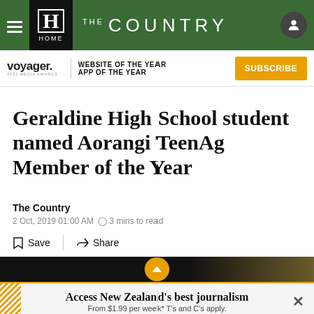THE COUNTRY — HOME
[Figure (logo): Voyager 2022 Media Awards logo with 'WEBSITE OF THE YEAR APP OF THE YEAR' text and SUBSCRIBE button]
Geraldine High School student named Aorangi TeenAg Member of the Year
The Country
2 Oct, 2019 01:00 AM  3 mins to read
Save  Share
[Figure (photo): Dark photo with gold chevron/arrow up button overlay]
Access New Zealand's best journalism From $1.99 per week* T's and C's apply.